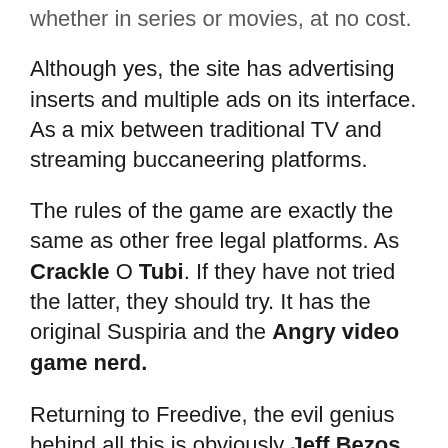whether in series or movies, at no cost.
Although yes, the site has advertising inserts and multiple ads on its interface. As a mix between traditional TV and streaming buccaneering platforms.
The rules of the game are exactly the same as other free legal platforms. As Crackle O Tubi. If they have not tried the latter, they should try. It has the original Suspiria and the Angry video game nerd.
Returning to Freedive, the evil genius behind all this is obviously Jeff Bezos. So, Amazon customers also have direct access to this catalog; of your Fire devices. Whether or not